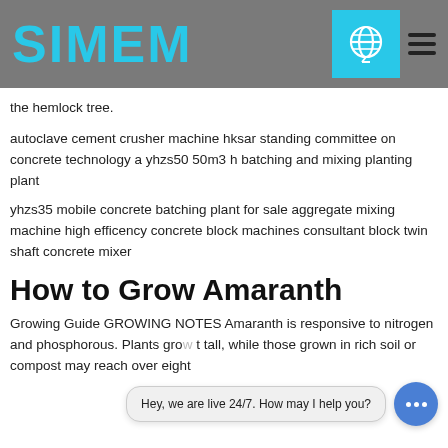SIMEM
the hemlock tree.
autoclave cement crusher machine hksar standing committee on concrete technology a yhzs50 50m3 h batching and mixing planting plant
yhzs35 mobile concrete batching plant for sale aggregate mixing machine high efficency concrete block machines consultant block twin shaft concrete mixer
How to Grow Amaranth
Growing Guide GROWING NOTES Amaranth is responsive to nitrogen and phosphorous. Plants grow t tall, while those grown in rich soil or compost may reach over eight
Hey, we are live 24/7. How may I help you?